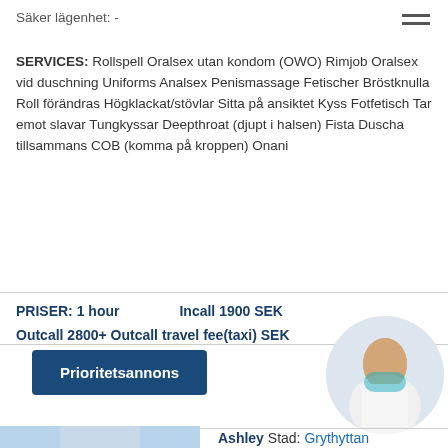Säker lägenhet: -
SERVICES: Rollspell Oralsex utan kondom (OWO) Rimjob Oralsex vid duschning Uniforms Analsex Penismassage Fetischer Bröstknulla Roll förändras Högklackat/stövlar Sitta på ansiktet Kyss Fotfetisch Tar emot slavar Tungkyssar Deepthroat (djupt i halsen) Fista Duscha tillsammans COB (komma på kroppen) Onani
PRISER: 1 hour    Incall 1900 SEK
Outcall 2800+ Outcall travel fee(taxi) SEK
Prioritetsannons
[Figure (photo): Circular cropped photo of a woman in a white top]
[Figure (photo): Partial photo at bottom left, blonde woman]
Ashley Stad: Grythyttan